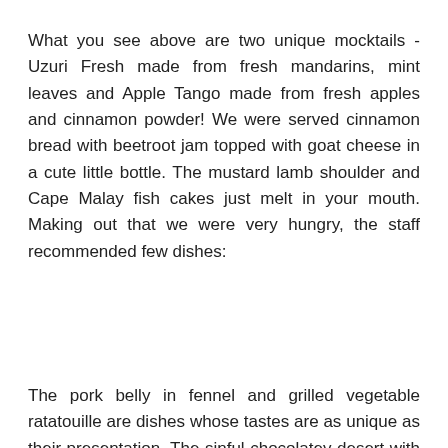What you see above are two unique mocktails - Uzuri Fresh made from fresh mandarins, mint leaves and Apple Tango made from fresh apples and cinnamon powder! We were served cinnamon bread with beetroot jam topped with goat cheese in a cute little bottle. The mustard lamb shoulder and Cape Malay fish cakes just melt in your mouth. Making out that we were very hungry, the staff recommended few dishes:
The pork belly in fennel and grilled vegetable ratatouille are dishes whose tastes are as unique as their presentation. The sinful chocolatey desert with semi frozen trufles filled us to the brim.
The food was exquisite and very very unique - its almost